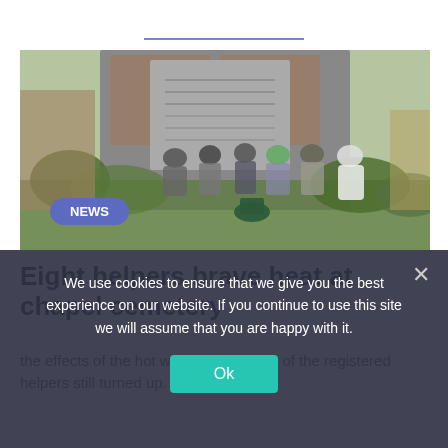[Figure (photo): Group of eight older men sitting and resting in front of a large stone monument/grave marker in a cemetery, surrounded by greenery. Taken outdoors in summer.]
Eight helpers brave heat at chapel cemetery
the effects of the hot weather, but eight of the registered helpers still turned up.
We use cookies to ensure that we give you the best experience on our website. If you continue to use this site we will assume that you are happy with it.